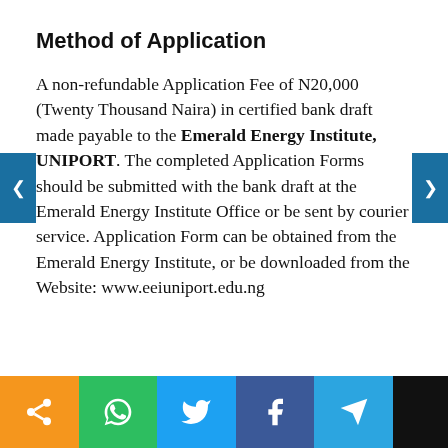Method of Application
A non-refundable Application Fee of N20,000 (Twenty Thousand Naira) in certified bank draft made payable to the Emerald Energy Institute, UNIPORT. The completed Application Forms should be submitted with the bank draft at the Emerald Energy Institute Office or be sent by courier service. Application Form can be obtained from the Emerald Energy Institute, or be downloaded from the Website: www.eeiuniport.edu.ng
[Figure (infographic): Social media sharing bar with icons for share, WhatsApp, Twitter, Facebook, Telegram]